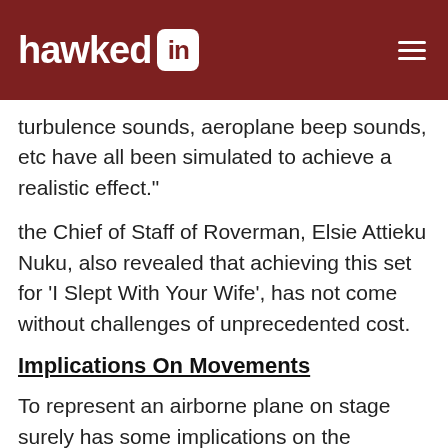hawked in
turbulence sounds, aeroplane beep sounds, etc have all been simulated to achieve a realistic effect."
the Chief of Staff of Roverman, Elsie Attieku Nuku, also revealed that achieving this set for 'I Slept With Your Wife', has not come without challenges of unprecedented cost.
Implications On Movements
To represent an airborne plane on stage surely has some implications on the movement of the cast on stage.
Kofi Antonio, who is one of the two choreographers working on the production, noted that it has taken constant rehearsals to achieve movement that is consistent with being in an airborne flight.